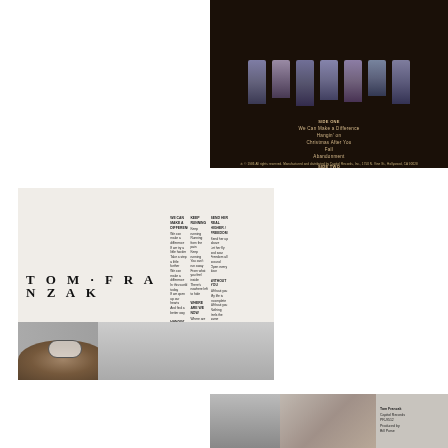[Figure (photo): Album back cover for Tom Franzak on dark brown/black background with silhouetted figures at top and tracklist in golden text. Side One: We Can Make a Difference, Hangin' on, Christmas After You, Fall, Abandonment. Side Two: Keep Running, Where Are We Now, Send Her Real Higher / Freedom, Without You. Produced by Bill Purse.]
[Figure (photo): Album inner sleeve for Tom Franzak showing lyrics in multiple columns with large bold serif title 'TOM·FRANZAK' at top. Bottom of sleeve shows black and white photo of a person (Tom Franzak) lying among a pile of toys/stuffed animals with a speech bubble.]
[Figure (photo): Small black and white photo strip at bottom, partial view showing person(s) and a small text block on the right side.]